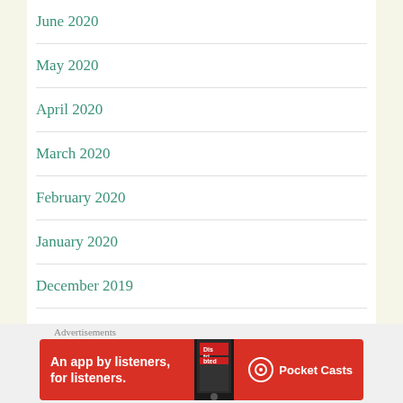June 2020
May 2020
April 2020
March 2020
February 2020
January 2020
December 2019
November 2019
October 2019
Advertisements
[Figure (illustration): Pocket Casts advertisement banner: red background with phone image, text 'An app by listeners, for listeners.' and Pocket Casts logo]